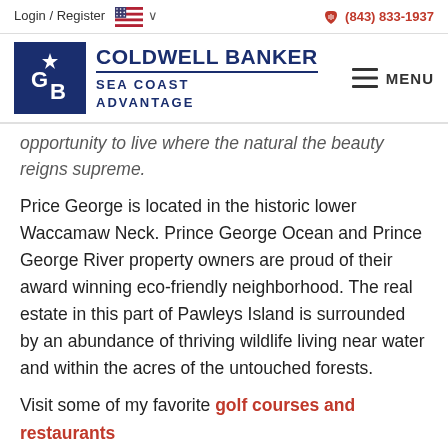Login / Register  🇺🇸 ∨   (843) 833-1937
[Figure (logo): Coldwell Banker Sea Coast Advantage logo with blue square CB logo and text. Menu button on the right.]
opportunity to live where the natural the beauty reigns supreme.
Price George is located in the historic lower Waccamaw Neck. Prince George Ocean and Prince George River property owners are proud of their award winning eco-friendly neighborhood. The real estate in this part of Pawleys Island is surrounded by an abundance of thriving wildlife living near water and within the acres of the untouched forests.
Visit some of my favorite golf courses and restaurants